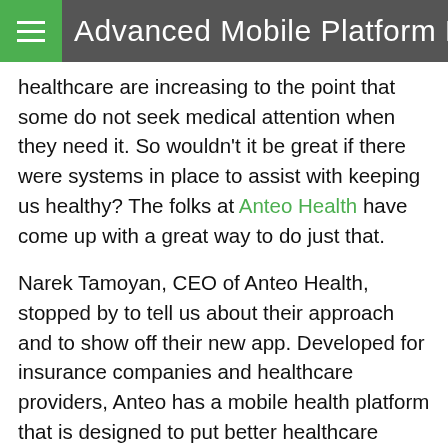Advanced Mobile Platform De…
healthcare are increasing to the point that some do not seek medical attention when they need it. So wouldn't it be great if there were systems in place to assist with keeping us healthy? The folks at Anteo Health have come up with a great way to do just that.
Narek Tamoyan, CEO of Anteo Health, stopped by to tell us about their approach and to show off their new app. Developed for insurance companies and healthcare providers, Anteo has a mobile health platform that is designed to put better healthcare options right at our fingertips. According to their research, 86% of healthcare costs in the United States are for chronic issues. This is due, in large part, to the fact that our healthcare system is reactive. There are so many